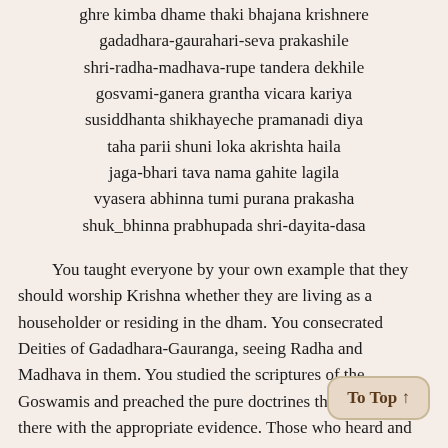ghre kimba dhame thaki bhajana krishnere
gadadhara-gaurahari-seva prakashile
shri-radha-madhava-rupe tandera dekhile
gosvami-ganera grantha vicara kariya
susiddhanta shikhayeche pramanadi diya
taha parii shuni loka akrishta haila
jaga-bhari tava nama gahite lagila
vyasera abhinna tumi purana prakasha
shuk_bhinna prabhupada shri-dayita-dasa
You taught everyone by your own example that they should worship Krishna whether they are living as a householder or residing in the dham. You consecrated Deities of Gadadhara-Gauranga, seeing Radha and Madhava in them. You studied the scriptures of the Goswamis and preached the pure doctrines that you found there with the appropriate evidence. Those who heard and read these doctrines were attracted and began to sing your glories throughout the world. You are like Vyasadeva who published the Puranas, and Srila